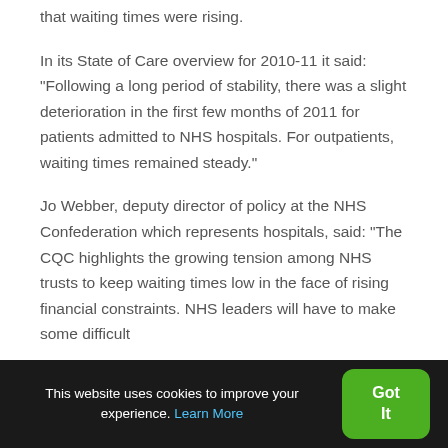that waiting times were rising.
In its State of Care overview for 2010-11 it said: “Following a long period of stability, there was a slight deterioration in the first few months of 2011 for patients admitted to NHS hospitals. For outpatients, waiting times remained steady.”
Jo Webber, deputy director of policy at the NHS Confederation which represents hospitals, said: “The CQC highlights the growing tension among NHS trusts to keep waiting times low in the face of rising financial constraints. NHS leaders will have to make some difficult
This website uses cookies to improve your experience. Learn More
Got It